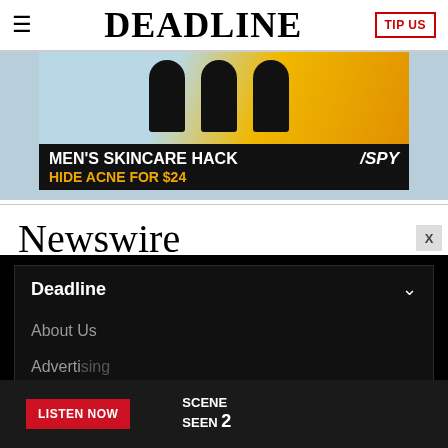DEADLINE
[Figure (photo): Advertisement banner for SPY skincare product: MEN'S SKINCARE HACK – HIDE ACNE FOR $24, with black cylindrical products on a blue and yellow background]
Newswire
Deadline
About Us
Advertising
[Figure (screenshot): Bottom advertisement bar with LISTEN NOW button and SCENE SEEN 2 logo]